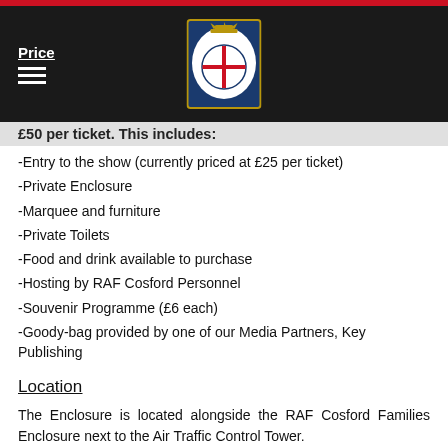Price
£50 per ticket. This includes:
-Entry to the show (currently priced at £25 per ticket)
-Private Enclosure
-Marquee and furniture
-Private Toilets
-Food and drink available to purchase
-Hosting by RAF Cosford Personnel
-Souvenir Programme (£6 each)
-Goody-bag provided by one of our Media Partners, Key Publishing
Location
The Enclosure is located alongside the RAF Cosford Families Enclosure next to the Air Traffic Control Tower.